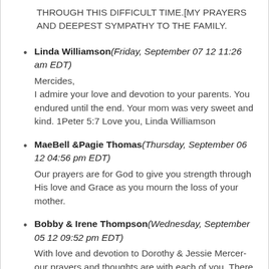THROUGH THIS DIFFICULT TIME.[MY PRAYERS AND DEEPEST SYMPATHY TO THE FAMILY.
Linda Williamson(Friday, September 07 12 11:26 am EDT)
Mercides,
I admire your love and devotion to your parents. You endured until the end. Your mom was very sweet and kind. 1Peter 5:7 Love you, Linda Williamson
MaeBell &Pagie Thomas(Thursday, September 06 12 04:56 pm EDT)
Our prayers are for God to give you strength through His love and Grace as you mourn the loss of your mother.
Bobby & Irene Thompson(Wednesday, September 05 12 09:52 pm EDT)
With love and devotion to Dorothy & Jessie Mercer- our prayers and thoughts are with each of you. There are no words that that we can say to make your loss less painful at this time. Remember what a gentle, caring and loving